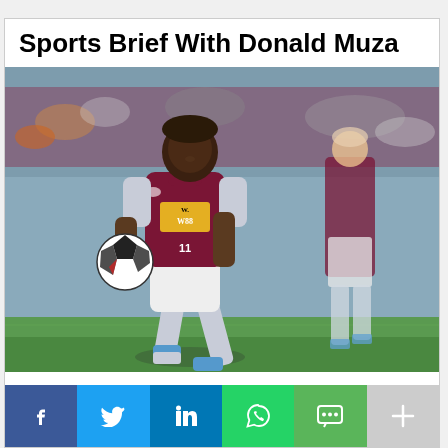Sports Brief With Donald Muza
[Figure (photo): A football player wearing Aston Villa's claret and blue kit with W88 sponsor, number 11, dribbling a ball on a stadium pitch. Another player in the same kit is visible in the background on the right.]
[Figure (infographic): Social sharing bar with buttons: Facebook (blue), Twitter (light blue), LinkedIn (dark blue), WhatsApp (green), SMS (green), More/Plus (grey)]